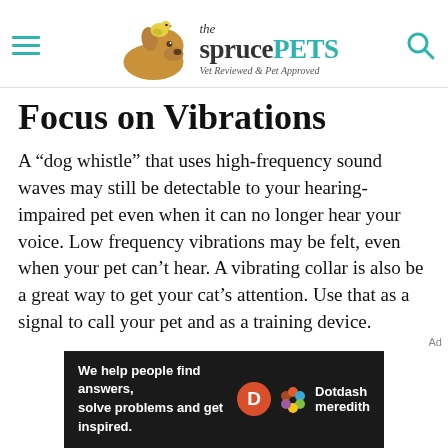the spruce PETS — Vet Reviewed & Pet Approved
Focus on Vibrations
A “dog whistle” that uses high-frequency sound waves may still be detectable to your hearing-impaired pet even when it can no longer hear your voice. Low frequency vibrations may be felt, even when your pet can’t hear. A vibrating collar is also be a great way to get your cat’s attention. Use that as a signal to call your pet and as a training device.
[Figure (other): Dotdash Meredith advertisement banner: 'We help people find answers, solve problems and get inspired.' with Dotdash Meredith logos on dark background]